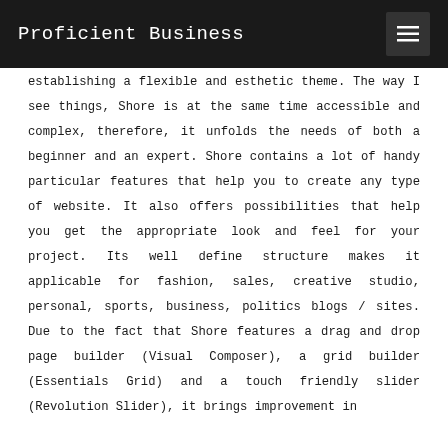Proficient Business
establishing a flexible and esthetic theme. The way I see things, Shore is at the same time accessible and complex, therefore, it unfolds the needs of both a beginner and an expert. Shore contains a lot of handy particular features that help you to create any type of website. It also offers possibilities that help you get the appropriate look and feel for your project. Its well define structure makes it applicable for fashion, sales, creative studio, personal, sports, business, politics blogs / sites. Due to the fact that Shore features a drag and drop page builder (Visual Composer), a grid builder (Essentials Grid) and a touch friendly slider (Revolution Slider), it brings improvement in